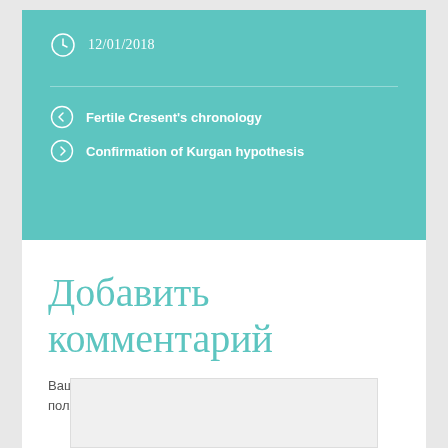12/01/2018
Fertile Cresent's chronology
Confirmation of Kurgan hypothesis
Добавить комментарий
Ваш e-mail не будет опубликован. Обязательные поля помечены